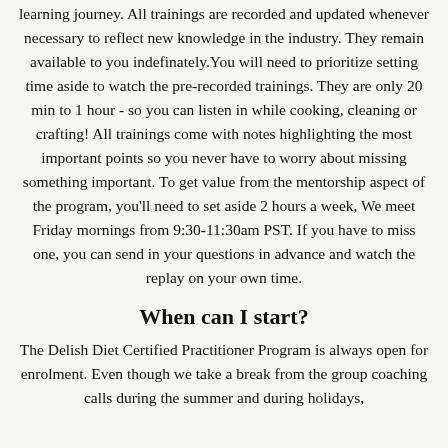learning journey. All trainings are recorded and updated whenever necessary to reflect new knowledge in the industry. They remain available to you indefinately.You will need to prioritize setting time aside to watch the pre-recorded trainings. They are only 20 min to 1 hour  - so you can listen in while cooking, cleaning or crafting! All trainings come with notes highlighting the most important points so you never have to worry about missing something important. To get value from the mentorship aspect of the program, you'll need to set aside 2 hours a week, We meet Friday mornings from 9:30-11:30am PST. If you have to miss one, you can send in your questions in advance and watch the replay on your own time.
When can I start?
The Delish Diet Certified Practitioner Program is always open for enrolment. Even though we take a break from the group coaching calls during the summer and during holidays,